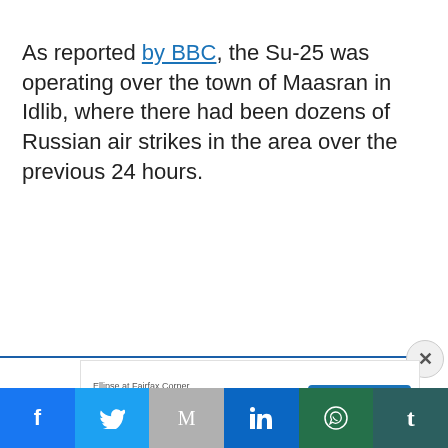As reported by BBC, the Su-25 was operating over the town of Maasran in Idlib, where there had been dozens of Russian air strikes in the area over the previous 24 hours.
[Figure (screenshot): Advertisement banner: Ellipse at Fairfax Corner - Enjoy the Finer Things in Life, with LEARN MORE button]
[Figure (infographic): Social media share bar with Facebook, Twitter, Email, LinkedIn, WhatsApp, and Tumblr buttons]